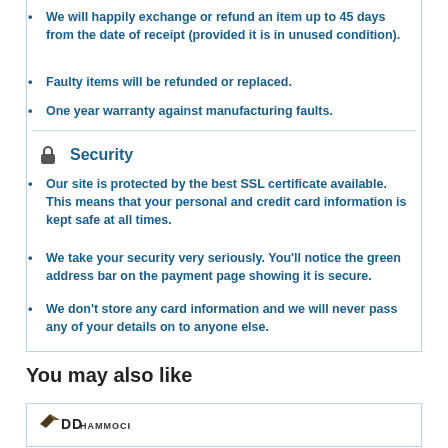We will happily exchange or refund an item up to 45 days from the date of receipt (provided it is in unused condition).
Faulty items will be refunded or replaced.
One year warranty against manufacturing faults.
Security
Our site is protected by the best SSL certificate available. This means that your personal and credit card information is kept safe at all times.
We take your security very seriously. You'll notice the green address bar on the payment page showing it is secure.
We don't store any card information and we will never pass any of your details on to anyone else.
You may also like
[Figure (logo): DD Hammocks logo]